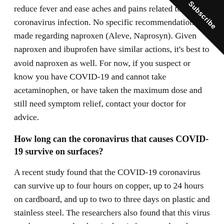reduce fever and ease aches and pains related to coronavirus infection. No specific recommendation was made regarding naproxen (Aleve, Naprosyn). Given naproxen and ibuprofen have similar actions, it's best to avoid naproxen as well. For now, if you suspect or know you have COVID-19 and cannot take acetaminophen, or have taken the maximum dose and still need symptom relief, contact your doctor for advice.
How long can the coronavirus that causes COVID-19 survive on surfaces?
A recent study found that the COVID-19 coronavirus can survive up to four hours on copper, up to 24 hours on cardboard, and up to two to three days on plastic and stainless steel. The researchers also found that this virus can hang out as droplets in the air for up to three hours before they fall. But most often they will fall more quickly.
There's a lot we still don't know, such as how different